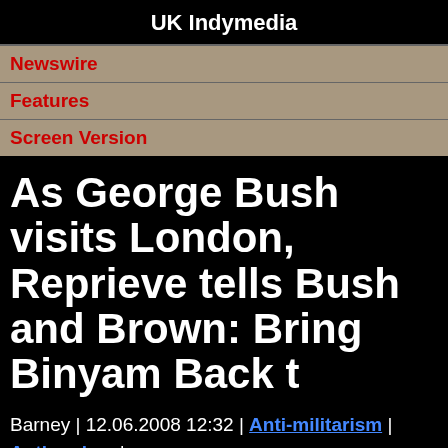UK Indymedia
Newswire
Features
Screen Version
As George Bush visits London, Reprieve tells Bush and Brown: Bring Binyam Back t
Barney | 12.06.2008 12:32 | Anti-militarism | Anti-racism | Terror War | London
Where: Trafalgar Square, in front of the National Gallery
When: 3 pm, Sunday 15 June
Who: Reprieve Director Clive Stafford Smith, former Guantánamo prisoners, Barney the Dinosaur and other